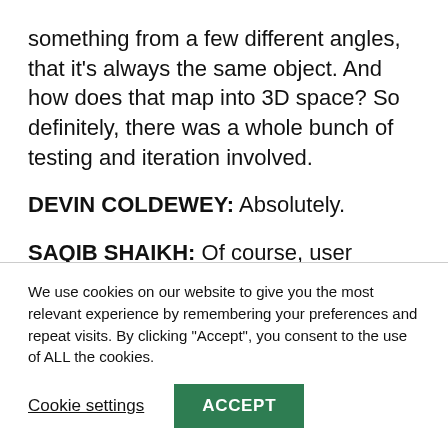something from a few different angles, that it's always the same object. And how does that map into 3D space? So definitely, there was a whole bunch of testing and iteration involved.
DEVIN COLDEWEY: Absolutely.
SAQIB SHAIKH: Of course, user testing
We use cookies on our website to give you the most relevant experience by remembering your preferences and repeat visits. By clicking "Accept", you consent to the use of ALL the cookies.
Cookie settings
ACCEPT